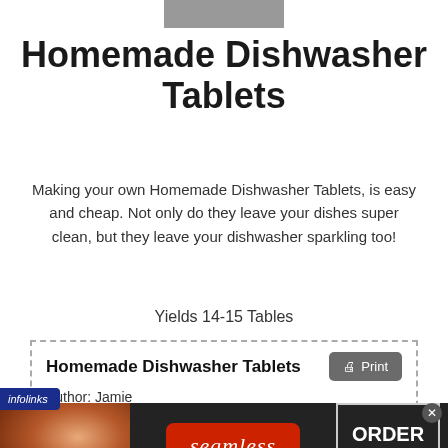[Figure (photo): Partial photo visible at the top of the page]
Homemade Dishwasher Tablets
Making your own Homemade Dishwasher Tablets, is easy and cheap. Not only do they leave your dishes super clean, but they leave your dishwasher sparkling too!
Yields 14-15 Tables
Homemade Dishwasher Tablets
Author: Jamie
[Figure (screenshot): Seamless food delivery advertisement banner with pizza image, seamless logo, and ORDER NOW button]